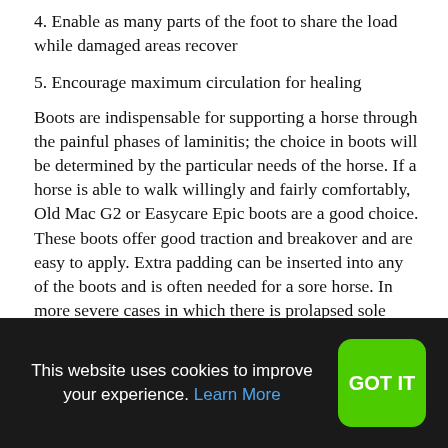4. Enable as many parts of the foot to share the load while damaged areas recover
5. Encourage maximum circulation for healing
Boots are indispensable for supporting a horse through the painful phases of laminitis; the choice in boots will be determined by the particular needs of the horse. If a horse is able to walk willingly and fairly comfortably, Old Mac G2 or Easycare Epic boots are a good choice. These boots offer good traction and breakover and are easy to apply. Extra padding can be inserted into any of the boots and is often needed for a sore horse. In more severe cases in which there is prolapsed sole tissue and/or deep abscess tracts, a boot such as the Soft-Ride™ is helpful. These boots include very thick silicone pads which come in different densities and can be modified as
This website uses cookies to improve your experience. Learn More
GOT IT